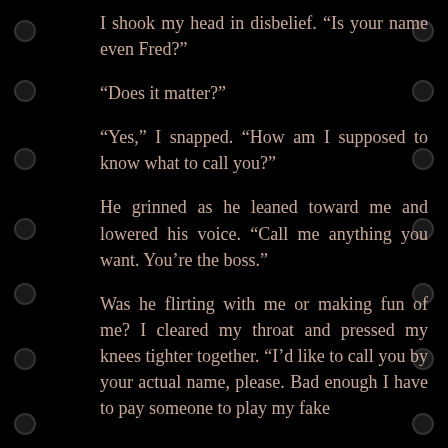I shook my head in disbelief. “Is your name even Fred?”
“Does it matter?”
“Yes,” I snapped. “How am I supposed to know what to call you?”
He grinned as he leaned toward me and lowered his voice. “Call me anything you want. You’re the boss.”
Was he flirting with me or making fun of me? I cleared my throat and pressed my knees tighter together. “I’d like to call you by your actual name, please. Bad enough I have to pay someone to play my fake